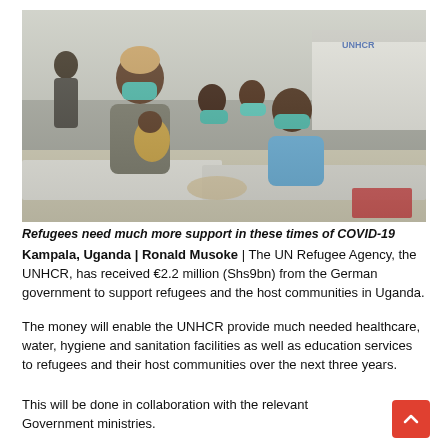[Figure (photo): A woman wearing a teal/green face mask holds a baby dressed in yellow-green clothing. Several children and adults, also wearing face masks, sit on white mats outdoors. A UNHCR tent is visible in the background. The scene takes place at a refugee camp in Uganda during COVID-19.]
Refugees need much more support in these times of COVID-19
Kampala, Uganda | Ronald Musoke | The UN Refugee Agency, the UNHCR, has received €2.2 million (Shs9bn) from the German government to support refugees and the host communities in Uganda.
The money will enable the UNHCR provide much needed healthcare, water, hygiene and sanitation facilities as well as education services to refugees and their host communities over the next three years.
This will be done in collaboration with the relevant Government ministries.